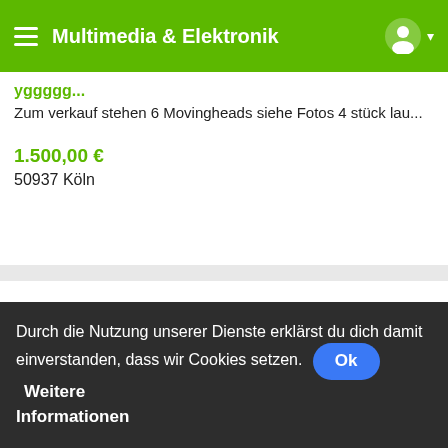Multimedia & Elektronik
Zum verkauf stehen 6 Movingheads siehe Fotos 4 stück lau...
1.500,00 €
50937 Köln
Durch die Nutzung unserer Dienste erklärst du dich damit einverstanden, dass wir Cookies setzen. Ok Weitere Informationen